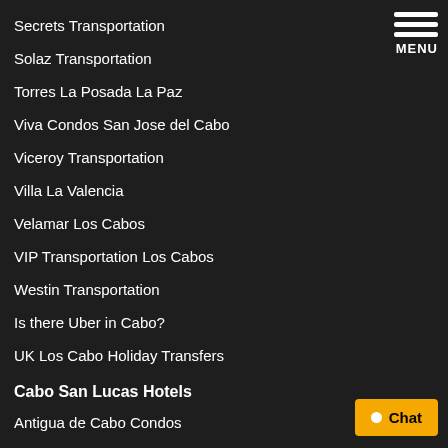Secrets Transportation
Solaz Transportation
Torres La Posada La Paz
Viva Condos San Jose del Cabo
Viceroy Transportation
Villa La Valencia
Velamar Los Cabos
VIP Transportation Los Cabos
Westin Transportation
Is there Uber in Cabo?
UK Los Cabo Holiday Transfers
Cabo San Lucas Hotels
Antigua de Cabo Condos
Bahia Transportation
Breathless Transportation
Cabo Airport Limousine Transfers